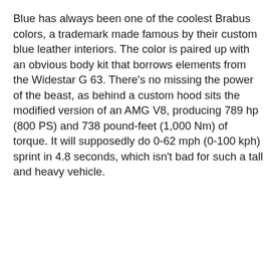Blue has always been one of the coolest Brabus colors, a trademark made famous by their custom blue leather interiors. The color is paired up with an obvious body kit that borrows elements from the Widestar G 63. There's no missing the power of the beast, as behind a custom hood sits the modified version of an AMG V8, producing 789 hp (800 PS) and 738 pound-feet (1,000 Nm) of torque. It will supposedly do 0-62 mph (0-100 kph) sprint in 4.8 seconds, which isn't bad for such a tall and heavy vehicle.